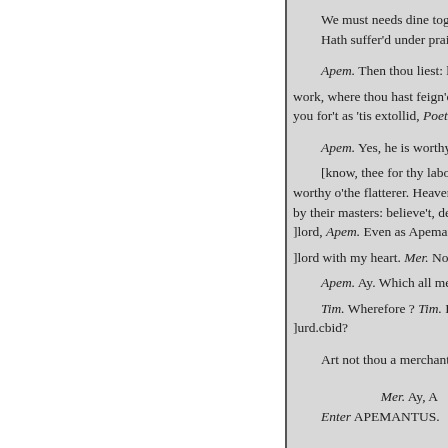We must needs dine together. Hath suffer'd under praise.
Apem. Then thou liest: look in work, where thou hast feign'd him you for't as 'tis extollid, Poet. Th
Apem. Yes, he is worthy of the
[know, thee for thy labour: He worthy o'the flatterer. Heavens, t by their masters: believe't, dear T lord, Apem. Even as Apemantus
lord with my heart. Mer. No, my
Apem. Ay. Which all men spea
Tim. Wherefore ? Tim. Look, w lurd.cbid?
Art not thou a merchant ?
Mer. Ay, A
Enter APEMANTUS.